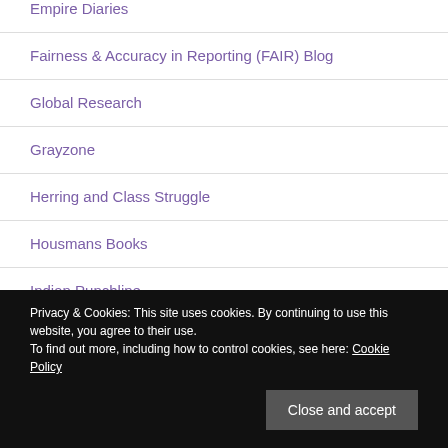Empire Diaries
Fairness & Accuracy in Reporting (FAIR) Blog
Global Research
Grayzone
Herring and Class Struggle
Housmans Books
Indian Punchline
Privacy & Cookies: This site uses cookies. By continuing to use this website, you agree to their use.
To find out more, including how to control cookies, see here: Cookie Policy